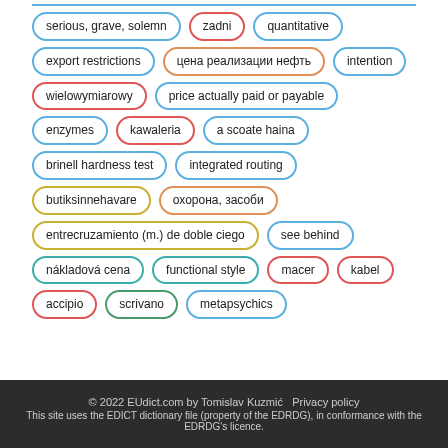serious, grave, solemn
zadni
quantitative
export restrictions
цена реализации нефть
intention
wielowymiarowy
price actually paid or payable
enzymes
kawaleria
a scoate haina
brinell hardness test
integrated routing
butiksinnehavare
охорона, засоби
entrecruzamiento (m.) de doble ciego
see behind
nákladová cena
functional style
macer
kabel
accipio
scrivano
metapsychics
© 2022 EUdict.com by Tomislav Kuzmić   Privacy policy
This site uses the EDICT dictionary file (property of the EDRDG), in conformance with the EDRDG's licence.